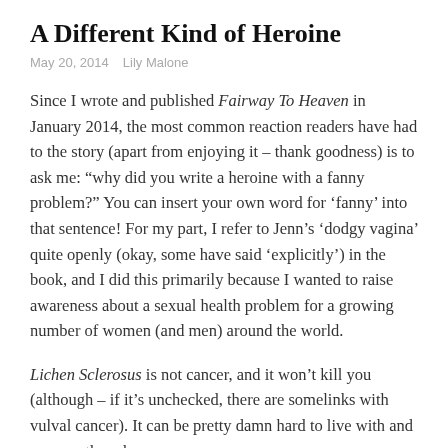A Different Kind of Heroine
May 20, 2014   Lily Malone
Since I wrote and published Fairway To Heaven in January 2014, the most common reaction readers have had to the story (apart from enjoying it – thank goodness) is to ask me: “why did you write a heroine with a fanny problem?” You can insert your own word for ‘fanny’ into that sentence! For my part, I refer to Jenn’s ‘dodgy vagina’ quite openly (okay, some have said ‘explicitly’) in the book, and I did this primarily because I wanted to raise awareness about a sexual health problem for a growing number of women (and men) around the world.
Lichen Sclerosus is not cancer, and it won’t kill you (although – if it’s unchecked, there are somelinks with vulval cancer). It can be pretty damn hard to live with and manage though.